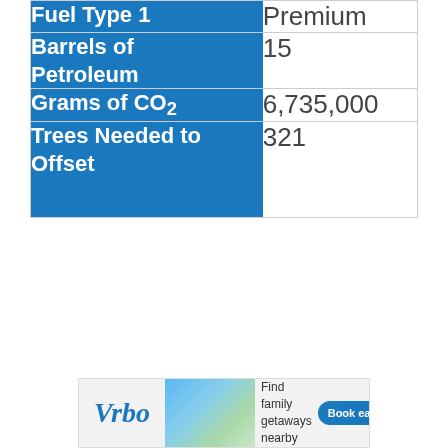| Fuel Type 1 | Premium |
| --- | --- |
| Barrels of Petroleum | 15 |
| Grams of CO₂ | 6,735,000 |
| Trees Needed to Offset | 321 |